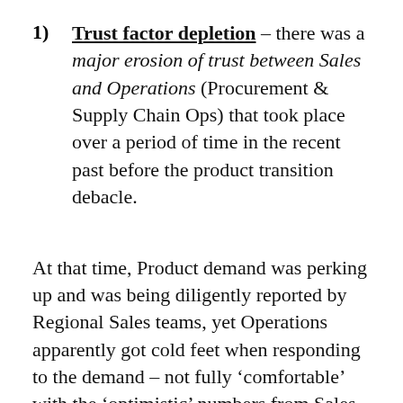1) Trust factor depletion – there was a major erosion of trust between Sales and Operations (Procurement & Supply Chain Ops) that took place over a period of time in the recent past before the product transition debacle.
At that time, Product demand was perking up and was being diligently reported by Regional Sales teams, yet Operations apparently got cold feet when responding to the demand – not fully 'comfortable' with the 'optimistic' numbers from Sales